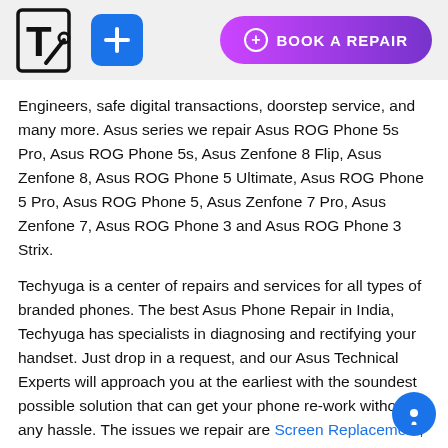Techyuga logo | + icon | BOOK A REPAIR button
Engineers, safe digital transactions, doorstep service, and many more. Asus series we repair Asus ROG Phone 5s Pro, Asus ROG Phone 5s, Asus Zenfone 8 Flip, Asus Zenfone 8, Asus ROG Phone 5 Ultimate, Asus ROG Phone 5 Pro, Asus ROG Phone 5, Asus Zenfone 7 Pro, Asus Zenfone 7, Asus ROG Phone 3 and Asus ROG Phone 3 Strix.
Techyuga is a center of repairs and services for all types of branded phones. The best Asus Phone Repair in India, Techyuga has specialists in diagnosing and rectifying your handset. Just drop in a request, and our Asus Technical Experts will approach you at the earliest with the soundest possible solution that can get your phone re-work without any hassle. The issues we repair are Screen Replacement, Battery Replacement, Camera Rear & Front Repair, Charging issue, Microphone Repair, Headphone jack repair, Speaker/Volume issue repair, Software issue, Liquid damage diagnosis, Network issue diagnosis, Volume button repair, SIM not detecting, WiFI not connected, Not